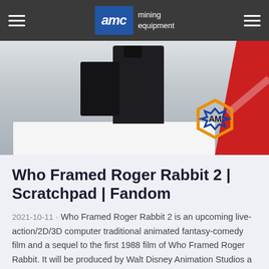AMC mining equipment
[Figure (photo): Industrial mining equipment photo with AMC logo watermark. Dark machinery on white/grey surface, red element on right side.]
Who Framed Roger Rabbit 2 | Scratchpad | Fandom
2021-10-11 · Who Framed Roger Rabbit 2 is an upcoming live-action/2D/3D computer traditional animated fantasy-comedy film and a sequel to the first 1988 film of Who Framed Roger Rabbit. It will be produced by Walt Disney Animation Studios a Disneytoon Studios in association with Spielber Amblin Entertainment and distributed by Walt